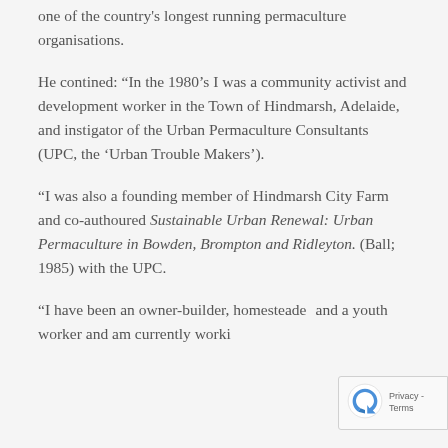one of the country's longest running permaculture organisations.
He contined: “In the 1980’s I was a community activist and development worker in the Town of Hindmarsh, Adelaide, and instigator of the Urban Permaculture Consultants (UPC, the ‘Urban Trouble Makers’).
“I was also a founding member of Hindmarsh City Farm and co-authoured Sustainable Urban Renewal: Urban Permaculture in Bowden, Brompton and Ridleyton. (Ball; 1985) with the UPC.
“I have been an owner-builder, homesteader and a youth worker and am currently working as a coordinator in the Clare Valle